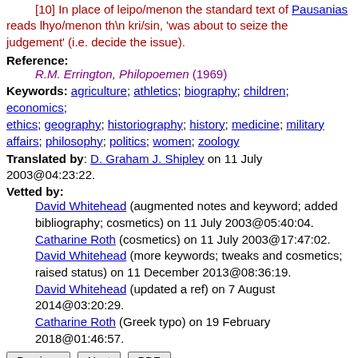[10] In place of leipo/menon the standard text of Pausanias reads lhyo/menon th\n kri/sin, 'was about to seize the judgement' (i.e. decide the issue).
Reference: R.M. Errington, Philopoemen (1969)
Keywords: agriculture; athletics; biography; children; economics; ethics; geography; historiography; history; medicine; military affairs; philosophy; politics; women; zoology
Translated by: D. Graham J. Shipley on 11 July 2003@04:23:22.
Vetted by: David Whitehead (augmented notes and keyword; added bibliography; cosmetics) on 11 July 2003@05:40:04. Catharine Roth (cosmetics) on 11 July 2003@17:47:02. David Whitehead (more keywords; tweaks and cosmetics; raised status) on 11 December 2013@08:36:19. David Whitehead (updated a ref) on 7 August 2014@03:20:29. Catharine Roth (Greek typo) on 19 February 2018@01:46:57.
Previous | Next | PDF
Find [Most fields] 25 per page Search